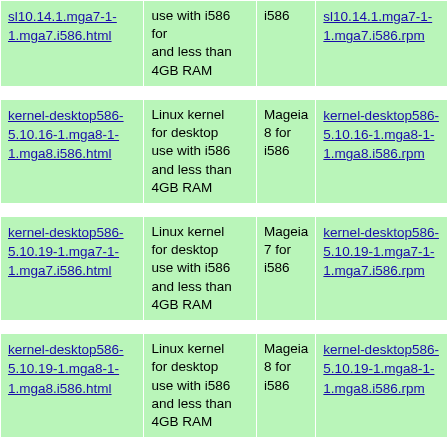| Package | Description | Arch | RPM |
| --- | --- | --- | --- |
| …i586.html (partial top) | use with i586 and less than 4GB RAM | i586 | …i586.rpm (partial top) |
| kernel-desktop586-5.10.16-1.mga8-1-1.mga8.i586.html | Linux kernel for desktop use with i586 and less than 4GB RAM | Mageia 8 for i586 | kernel-desktop586-5.10.16-1.mga8-1-1.mga8.i586.rpm |
| kernel-desktop586-5.10.19-1.mga7-1-1.mga7.i586.html | Linux kernel for desktop use with i586 and less than 4GB RAM | Mageia 7 for i586 | kernel-desktop586-5.10.19-1.mga7-1-1.mga7.i586.rpm |
| kernel-desktop586-5.10.19-1.mga8-1-1.mga8.i586.html | Linux kernel for desktop use with i586 and less than 4GB RAM | Mageia 8 for i586 | kernel-desktop586-5.10.19-1.mga8-1-1.mga8.i586.rpm |
| kernel-desktop586- (partial bottom) | Linux kernel for desktop | Mageia | kernel-desktop586- (partial bottom) |